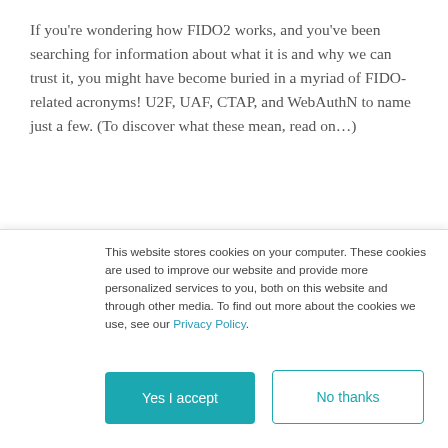If you're wondering how FIDO2 works, and you've been searching for information about what it is and why we can trust it, you might have become buried in a myriad of FIDO-related acronyms! U2F, UAF, CTAP, and WebAuthN to name just a few. (To discover what these mean, read on…)
In this recording of a webinar (broadcast February 2020), international identity guru John Craddock cuts through the jargon with simple, clear and techie explanations of FIDO2. He explains why the world needs it,
This website stores cookies on your computer. These cookies are used to improve our website and provide more personalized services to you, both on this website and through other media. To find out more about the cookies we use, see our Privacy Policy.